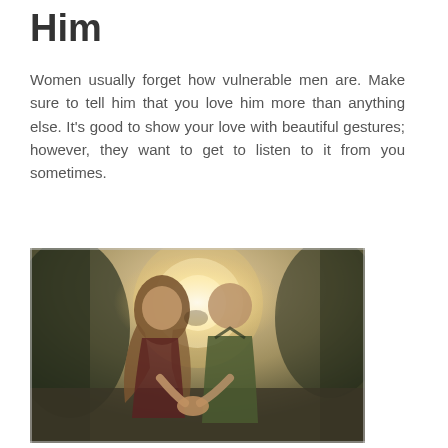Him
Women usually forget how vulnerable men are. Make sure to tell him that you love him more than anything else. It’s good to show your love with beautiful gestures; however, they want to get to listen to it from you sometimes.
[Figure (photo): A romantic photo of a couple touching foreheads with sunlight glowing behind them. The woman has long wavy hair and the man is wearing a dark olive shirt. They are holding hands between them.]